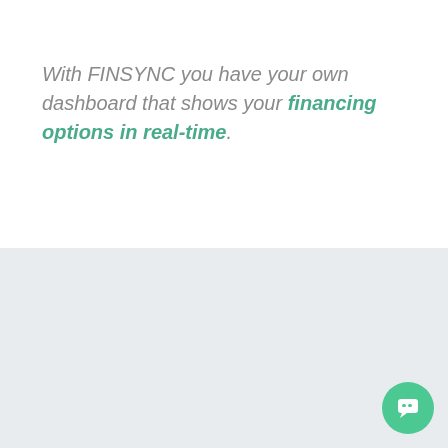With FINSYNC you have your own dashboard that shows your financing options in real-time.
Related Posts
LOAD MORE